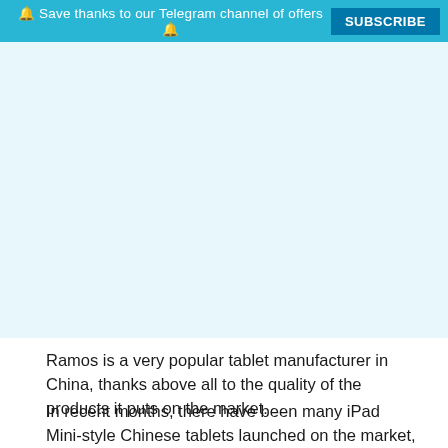🔔 Save thanks to our Telegram channel of offers 🔔   SUBSCRIBE
[Figure (photo): Large image area, mostly white/light blue, likely a product photo of a tablet (content not visible)]
Ramos is a very popular tablet manufacturer in China, thanks above all to the quality of the products it puts on the market.
In recent months, there have been many iPad Mini-style Chinese tablets launched on the market, many more than